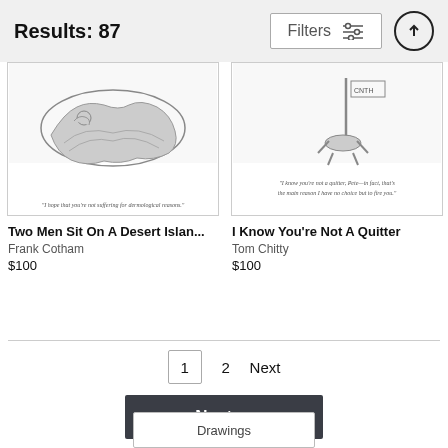Results: 87
[Figure (illustration): Cartoon illustration of two men on a desert island with a caption below]
[Figure (illustration): Cartoon illustration with CNTH label and a figure with caption about a quitter]
Two Men Sit On A Desert Islan...
Frank Cotham
$100
I Know You're Not A Quitter
Tom Chitty
$100
1  2  Next
Next
Drawings